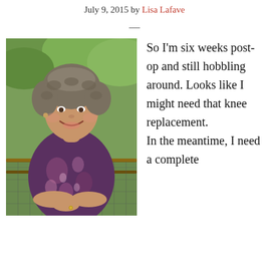July 9, 2015 by Lisa Lafave
—
[Figure (photo): A smiling middle-aged woman with short curly gray-brown hair, wearing a patterned purple blouse, leaning on a wooden railing with greenery in the background.]
So I'm six weeks post-op and still hobbling around. Looks like I might need that knee replacement.

In the meantime, I need a complete